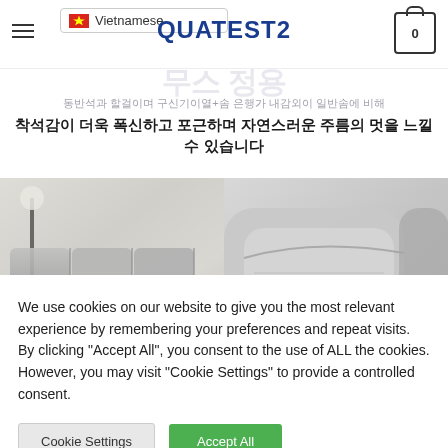QUATEST2
착석감이 더욱 폭신하고 포근하며 자연스러운 주름의 멋을 느낄 수 있습니다
[Figure (photo): Two side-by-side photos of a light grey sofa showing cushion texture and armrest detail]
We use cookies on our website to give you the most relevant experience by remembering your preferences and repeat visits. By clicking "Accept All", you consent to the use of ALL the cookies. However, you may visit "Cookie Settings" to provide a controlled consent.
Cookie Settings
Accept All